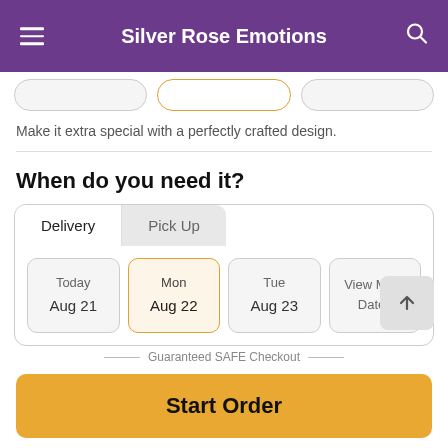Silver Rose Emotions
Make it extra special with a perfectly crafted design.
When do you need it?
Delivery | Pick Up
Today Aug 21 | Mon Aug 22 | Tue Aug 23 | View More Dates
Guaranteed SAFE Checkout
Start Order